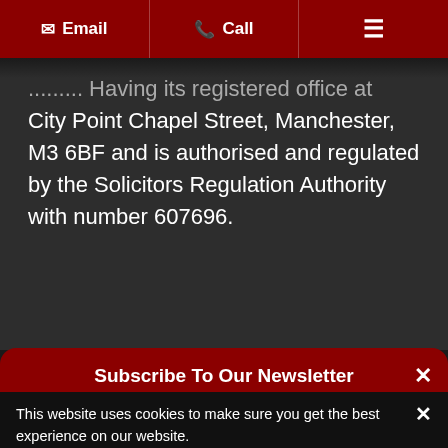Email | Call | Menu
...having its registered office at City Point Chapel Street, Manchester, M3 6BF and is authorised and regulated by the Solicitors Regulation Authority with number 607696.
Subscribe To Our Newsletter
This website uses cookies to make sure you get the best experience on our website.
Accept
View Cookie Policy